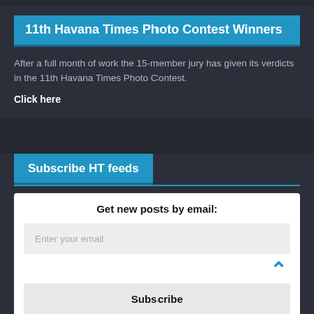11th Havana Times Photo Contest Winners
After a full month of work the 15-member jury has given its verdicts in the 11th Havana Times Photo Contest.
Click here
Subscribe HT feeds
Get new posts by email:
Enter your email
Subscribe